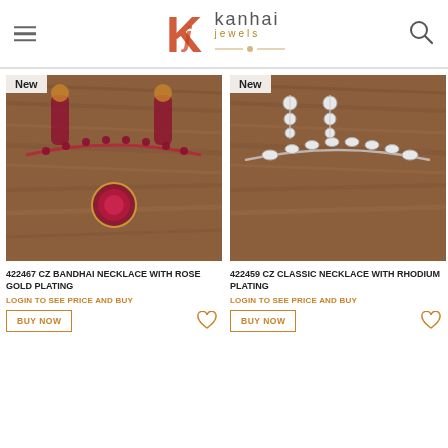Kanhai Jewels
[Figure (photo): Left product: 422467 CZ Bandhai Necklace with Rose Gold Plating - maroon/ruby beaded necklace with matching earrings on wooden background, marked New]
422467 CZ BANDHAI NECKLACE WITH ROSE GOLD PLATING
LOGIN TO SEE PRICE AND BUY
[Figure (photo): Right product: 422459 CZ Classic Necklace with Rhodium Plating - silver/diamond style classic necklace with dangling earrings on wooden background, marked New]
422459 CZ CLASSIC NECKLACE WITH RHODIUM PLATING
LOGIN TO SEE PRICE AND BUY